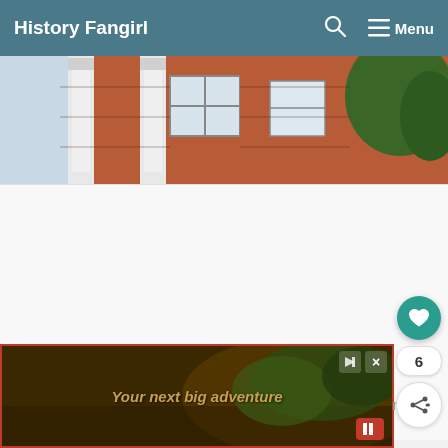History Fangirl
[Figure (photo): Exterior of a red brick building with white classical columns and a window, partial view of a tree on the right side]
[Figure (screenshot): White/light grey content area placeholder]
[Figure (photo): Advertisement banner with dark brown/golden background showing 'Your next big adventure' with a scenic image, close and skip buttons, and a red play button]
[Figure (logo): mmm degree symbol logo in grey on the right side]